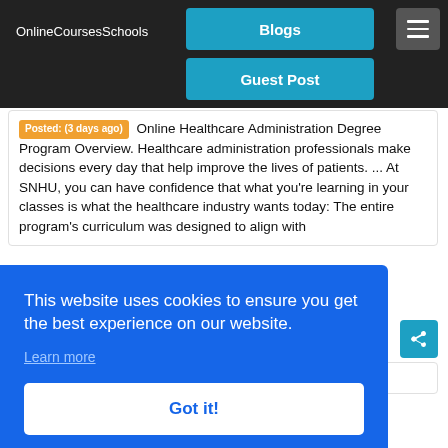OnlineCoursesSchools
Blogs
Guest Post
Posted: (3 days ago) Online Healthcare Administration Degree Program Overview. Healthcare administration professionals make decisions every day that help improve the lives of patients. ... At SNHU, you can have confidence that what you're learning in your classes is what the healthcare industry wants today: The entire program's curriculum was designed to align with
This website uses cookies to ensure you get the best experience on our website.
Learn more
Got it!
MBA in Healthcare Administration classes. To earn the MBA –